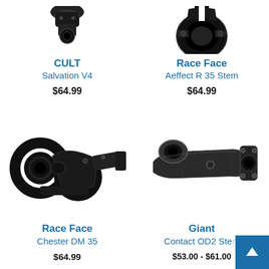[Figure (photo): CULT Salvation V4 BMX stem product photo (partially cropped at top)]
[Figure (photo): Race Face Aeffect R 35 Stem product photo (partially cropped at top)]
CULT Salvation V4
$64.99
Race Face Aeffect R 35 Stem
$64.99
[Figure (photo): Race Face Chester DM 35 stem product photo, black, double clamp design]
[Figure (photo): Giant Contact OD2 Stem product photo, dark gray/black]
Race Face Chester DM 35
$64.99
Giant Contact OD2 Stem
$53.00 - $61.00